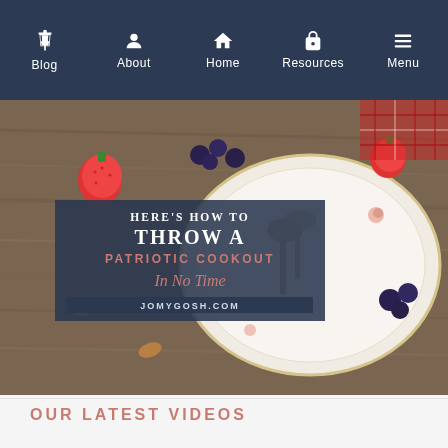Blog | About | Home | Resources | Menu
[Figure (photo): Decorative photo of a place setting with a floral china plate, antique spoons, strawberries, and blueberries on a rustic wooden surface. Overlaid dark navy text box reads: HERE'S HOW TO THROW A PATRIOTIC COOKOUT In No Time. JOMYGOSH.COM]
OUR LATEST VIDEOS